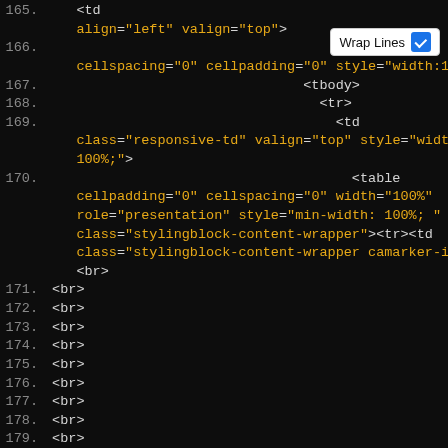[Figure (screenshot): Code editor screenshot showing HTML source lines 165-185 with dark background, line numbers in gray, HTML tags in white/gray, attribute values in orange. A 'Wrap Lines' checkbox button appears in the top-right corner.]